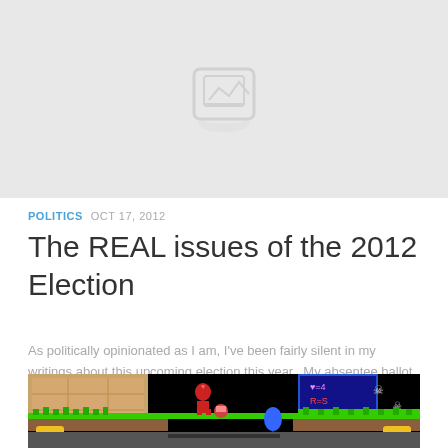[Figure (photo): Top portion of a partially visible image with light gray background, appears to be a blog post header image]
POLITICS  OCT 17, 2012
The REAL issues of the 2012 Election
As politically opinionated as I am, I've been fairly silent in my writings about this upcoming election this year.  My absentee ballot has been cast so no amount of debates or annoying phone ca...
[Figure (screenshot): A retro video game screenshot showing a platform game scene with pixel art characters, a score board showing R=4 and R=S, green platforms, a red character, and THRU signs on both sides]